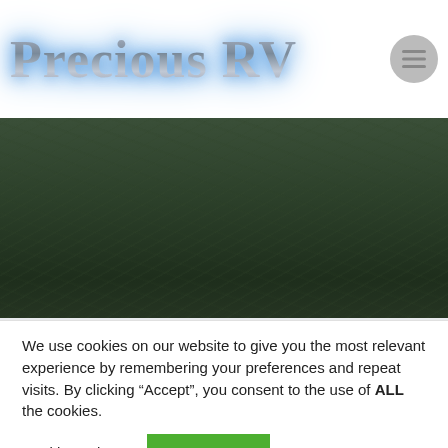Precious RV
[Figure (photo): Aerial or close-up photo of dark green textured surface, possibly water or dunes, used as hero/banner image on the Precious RV website.]
We use cookies on our website to give you the most relevant experience by remembering your preferences and repeat visits. By clicking “Accept”, you consent to the use of ALL the cookies.
Cookie settings    ACCEPT